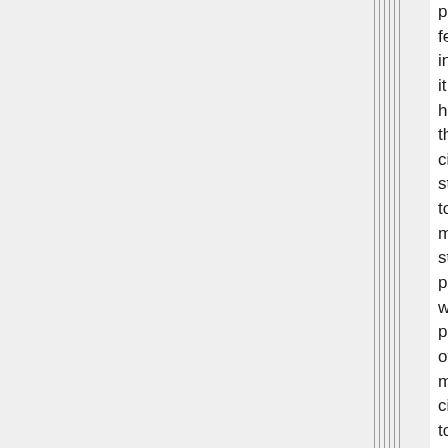practiced female infanticide; it helped the city-states to maintain stable populations with plenty of male citizens to defend the city walls. Prostitutes and homosexuality served to meet the needs of the excess males, and it was common for a man to marry for the first time at age 40 to 49. Indeed,